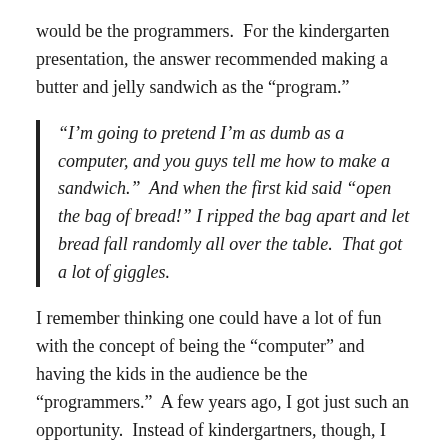would be the programmers.  For the kindergarten presentation, the answer recommended making a butter and jelly sandwich as the "program."
"I'm going to pretend I'm as dumb as a computer, and you guys tell me how to make a sandwich."  And when the first kid said "open the bag of bread!" I ripped the bag apart and let bread fall randomly all over the table.  That got a lot of giggles.
I remember thinking one could have a lot of fun with the concept of being the "computer" and having the kids in the audience be the "programmers."  A few years ago, I got just such an opportunity.  Instead of kindergartners, though, I would be presenting to 7th graders.  And instead of one presentation, it would be six.